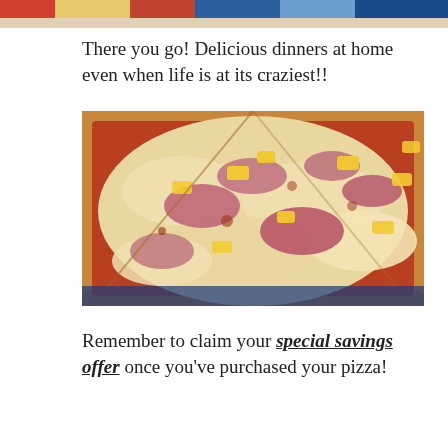[Figure (photo): Partial top strip of a food/recipe image at the very top of the page]
There you go! Delicious dinners at home even when life is at its craziest!!
[Figure (photo): Close-up photograph of a Hawaiian pizza with ham and pineapple toppings on a blue decorative plate, with a slice being pulled away]
Remember to claim your special savings offer once you've purchased your pizza!